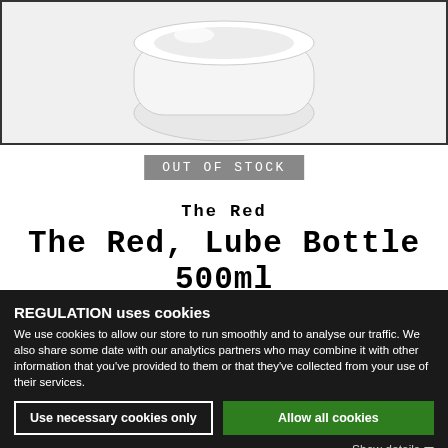[Figure (photo): Product image of a white bottle/jar partially visible at the top of the page against a light grey background with border]
OUT OF STOCK
The Red
The Red, Lube Bottle 500ml
£7.49
REGULATION uses cookies
We use cookies to allow our store to run smoothly and to analyse our traffic. We also share some date with our analytics partners who may combine it with other information that you've provided to them or that they've collected from your use of their services.
Use necessary cookies only
Allow all cookies
Show details